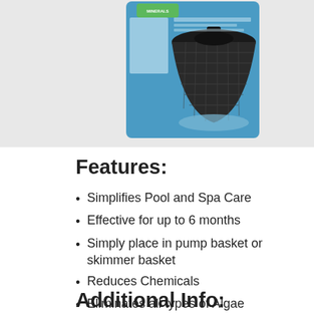[Figure (photo): Product photo of a pool/spa mineral treatment device in blue packaging, showing a black mesh basket-shaped filter holder.]
Features:
Simplifies Pool and Spa Care
Effective for up to 6 months
Simply place in pump basket or skimmer basket
Reduces Chemicals
Eliminates all types of Algae
Additional Info: